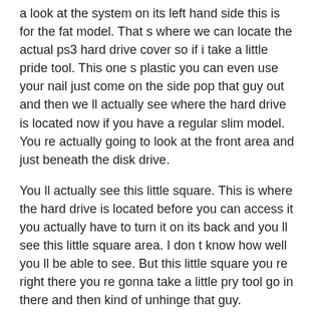a look at the system on its left hand side this is for the fat model. That s where we can locate the actual ps3 hard drive cover so if i take a little pride tool. This one s plastic you can even use your nail just come on the side pop that guy out and then we ll actually see where the hard drive is located now if you have a regular slim model. You re actually going to look at the front area and just beneath the disk drive.
You ll actually see this little square. This is where the hard drive is located before you can access it you actually have to turn it on its back and you ll see this little square area. I don t know how well you ll be able to see. But this little square you re right there you re gonna take a little pry tool go in there and then kind of unhinge that guy.
It s going to stay stuck on it s not gonna come off completely or i lied it s gonna come off completely. But there are some slim models where it does not come off